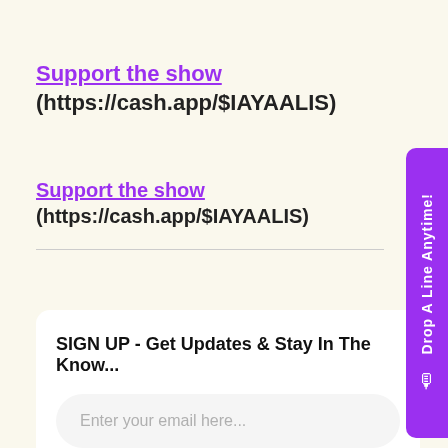Support the show (https://cash.app/$IAYAALIS)
Support the show (https://cash.app/$IAYAALIS)
SIGN UP - Get Updates & Stay In The Know...
Enter your email here...
YES! ☺ Just by signing up - you agree to receive email from